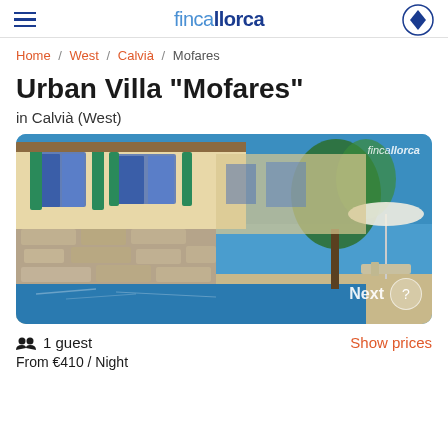fincallorca
Home / West / Calvià / Mofares
Urban Villa "Mofares"
in Calvià (West)
[Figure (photo): Exterior photo of Urban Villa Mofares showing a stone-walled villa with blue shuttered windows, a blue swimming pool in the foreground, a patio with a white umbrella and sun loungers, and trees under a clear blue sky. Watermark reads 'fincallorca' in the top right corner. A 'Next' button with a circle info icon is overlaid in the bottom right.]
👥 1 guest
From €410 / Night
Show prices